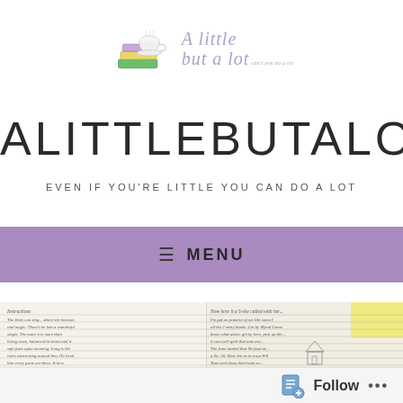[Figure (logo): A little but a lot blog logo with stacked books and teacup illustration alongside cursive text]
ALITTLEBUTALOT
EVEN IF YOU'RE LITTLE YOU CAN DO A LOT
≡  MENU
[Figure (photo): Photograph showing handwritten notebook pages with cursive text]
Follow   ...